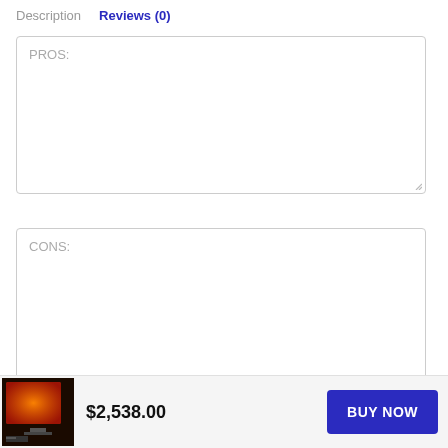Description   Reviews (0)
PROS:
CONS:
Name *
$2,538.00
BUY NOW